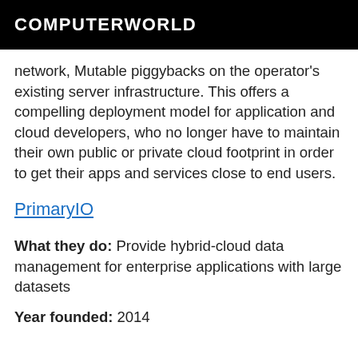COMPUTERWORLD
network, Mutable piggybacks on the operator's existing server infrastructure. This offers a compelling deployment model for application and cloud developers, who no longer have to maintain their own public or private cloud footprint in order to get their apps and services close to end users.
PrimaryIO
What they do: Provide hybrid-cloud data management for enterprise applications with large datasets
Year founded: 2014